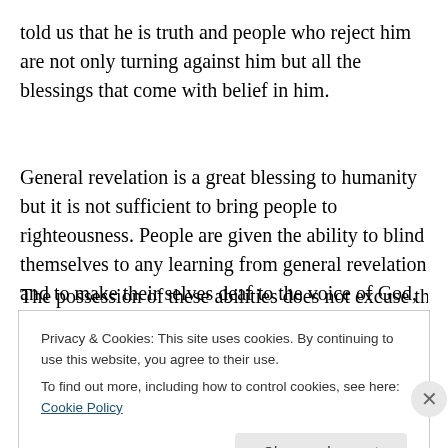told us that he is truth and people who reject him are not only turning against him but all the blessings that come with belief in him.
General revelation is a great blessing to humanity but it is not sufficient to bring people to righteousness. People are given the ability to blind themselves to any learning from general revelation and to make their selves deaf to the voice of God, which is one aspect of special revelation. The possession of these abilities does not excuse them for
Privacy & Cookies: This site uses cookies. By continuing to use this website, you agree to their use.
To find out more, including how to control cookies, see here: Cookie Policy